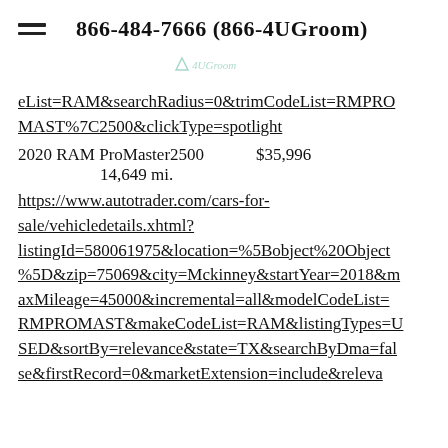866-484-7666 (866-4UGroom)
[Figure (logo): 4UGroom logo watermark in light teal/mint color]
eList=RAM&searchRadius=0&trimCodeList=RMPROMAST%7C2500&clickType=spotlight
2020 RAM ProMaster2500     $35,996
                14,649 mi.
https://www.autotrader.com/cars-for-sale/vehicledetails.xhtml?listingId=580061975&location=%5Bobject%20Object%5D&zip=75069&city=Mckinney&startYear=2018&maxMileage=45000&incremental=all&modelCodeList=RMPROMAST&makeCodeList=RAM&listingTypes=USED&sortBy=relevance&state=TX&searchByDma=false&firstRecord=0&marketExtension=include&releva